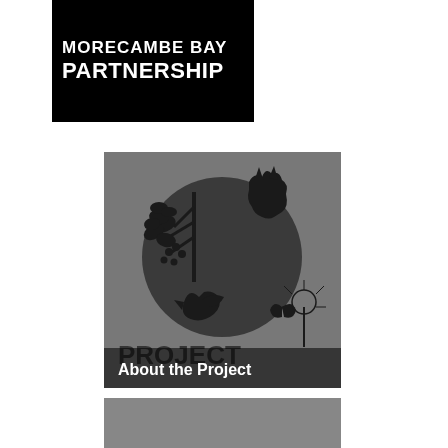[Figure (logo): Morecambe Bay Partnership logo – black background with white bold text reading 'MORECAMBE BAY' on first line and 'PARTNERSHIP' on second line]
[Figure (illustration): Circular nature/wildlife logo on grey background showing silhouettes of a bird, cat, plant with berries, and other natural elements, with 'PROJECT' text partially visible and an 'About the Project' label overlay at the bottom]
[Figure (photo): Bottom partial grey image, content not fully visible]